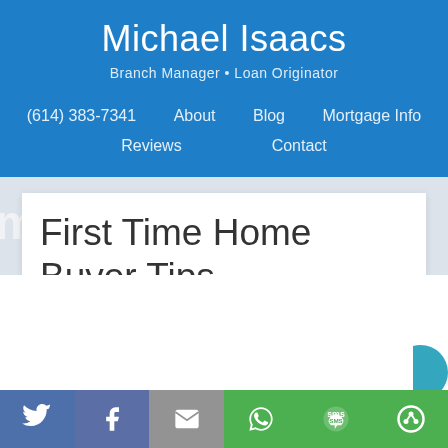Michael Isaacs
Branch Manager • Loan Originator
(614) 383-7341   About   Blog   Mortgage Info   Reviews   Contact
First Time Home Buyer Tips
When it
[Figure (screenshot): Social share bar with Twitter, Facebook, Email, WhatsApp, SMS, and share icons at the bottom of the page]